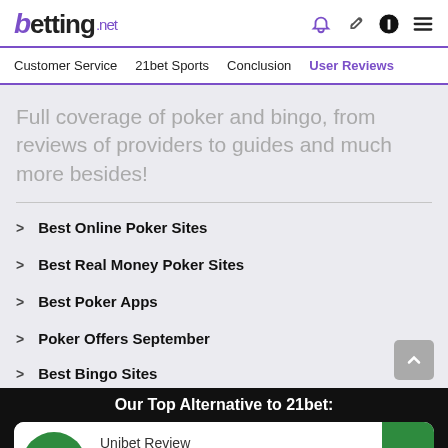betting.net
Customer Service  21bet Sports  Conclusion  User Reviews
Full coverage of poker and bingo, from reviews of providers to guides and much more besides!
Best Online Poker Sites
Best Real Money Poker Sites
Best Poker Apps
Poker Offers September
Best Bingo Sites
Our Top Alternative to 21bet:
Unibet Review
100% up to $100
T&Cs apply. 18+